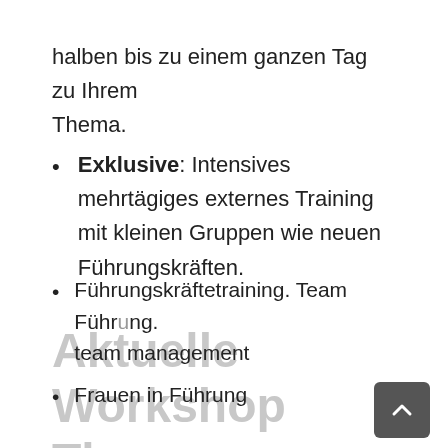halben bis zu einem ganzen Tag zu Ihrem Thema.
Exklusive: Intensives mehrtägiges externes Training mit kleinen Gruppen wie neuen Führungskräften.
Aktuelle Workshop Themen
Führungskräftetraining. Team Führung. team management
Frauen in Führung